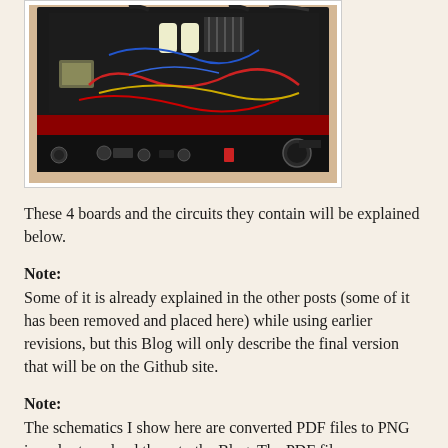[Figure (photo): Top-down photo of an open electronics rack unit showing 4 circuit boards with various components including transformers, wiring (red, yellow, blue, black), capacitors, and a front panel with knobs and controls.]
These 4 boards and the circuits they contain will be explained below.
Note:
Some of it is already explained in the other posts (some of it has been removed and placed here) while using earlier revisions, but this Blog will only describe the final version that will be on the Github site.
Note:
The schematics I show here are converted PDF files to PNG in order to upload them to the Blog. The PDF files are exported from Altium, and have part numbers in them so they can be searched for